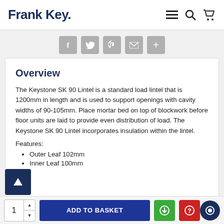Frank Key.
[Figure (other): Social sharing buttons: Facebook, Twitter, Pinterest, Email, Plus]
Overview
The Keystone SK 90 Lintel is a standard load lintel that is 1200mm in length and is used to support openings with cavity widths of 90-105mm. Place mortar bed on top of blockwork before floor units are laid to provide even distribution of load. The Keystone SK 90 Lintel incorporates insulation within the lintel.
Features:
Outer Leaf 102mm
Inner Leaf 100mm
1  ADD TO BASKET